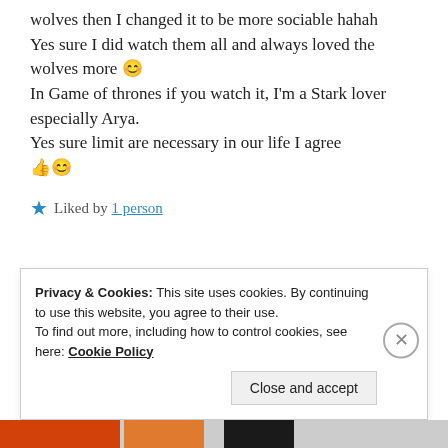wolves then I changed it to be more sociable hahah
Yes sure I did watch them all and always loved the wolves more 😊
In Game of thrones if you watch it, I'm a Stark lover especially Arya.
Yes sure limit are necessary in our life I agree 👍😊
★ Liked by 1 person
Privacy & Cookies: This site uses cookies. By continuing to use this website, you agree to their use.
To find out more, including how to control cookies, see here: Cookie Policy
Close and accept